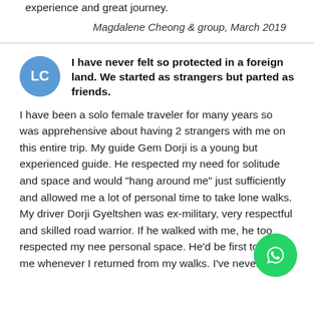experience and great journey.
Magdalene Cheong & group, March 2019
I have never felt so protected in a foreign land. We started as strangers but parted as friends.
I have been a solo female traveler for many years so was apprehensive about having 2 strangers with me on this entire trip. My guide Gem Dorji is a young but experienced guide. He respected my need for solitude and space and would "hang around me" just sufficiently and allowed me a lot of personal time to take lone walks. My driver Dorji Gyeltshen was ex-military, very respectful and skilled road warrior. If he walked with me, he too respected my need for personal space. He'd be first to spot me whenever I returned from my walks. I've never